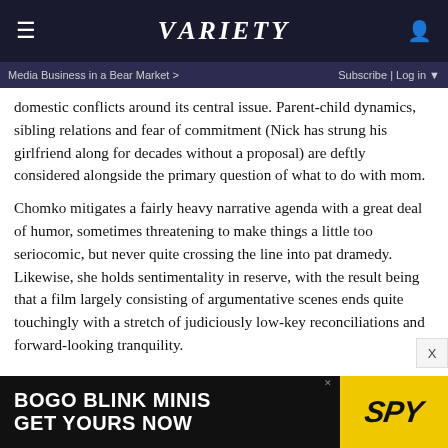VARIETY
Media Business in a Bear Market > | Subscribe | Log in
domestic conflicts around its central issue. Parent-child dynamics, sibling relations and fear of commitment (Nick has strung his girlfriend along for decades without a proposal) are deftly considered alongside the primary question of what to do with mom.
Chomko mitigates a fairly heavy narrative agenda with a great deal of humor, sometimes threatening to make things a little too seriocomic, but never quite crossing the line into pat dramedy. Likewise, she holds sentimentality in reserve, with the result being that a film largely consisting of argumentative scenes ends quite touchingly with a stretch of judiciously low-key reconciliations and forward-looking tranquility.
[Figure (other): Advertisement banner: BOGO BLINK MINIS / GET YOURS NOW with SPY logo on yellow background]